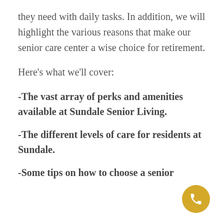they need with daily tasks. In addition, we will highlight the various reasons that make our senior care center a wise choice for retirement.
Here's what we'll cover:
-The vast array of perks and amenities available at Sundale Senior Living.
-The different levels of care for residents at Sundale.
-Some tips on how to choose a senior